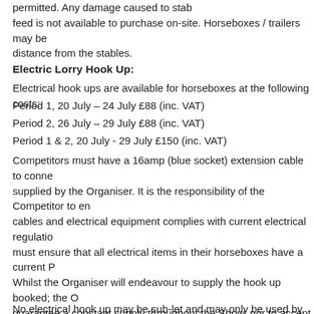permitted. Any damage caused to stab feed is not available to purchase on-site. Horseboxes / trailers may be distance from the stables.
Electric Lorry Hook Up:
Electrical hook ups are available for horseboxes at the following costs:
Period 1, 20 July – 24 July £88 (inc. VAT)
Period 2, 26 July – 29 July £88 (inc. VAT)
Period 1 & 2, 20 July - 29 July £150 (inc. VAT)
Competitors must have a 16amp (blue socket) extension cable to conne supplied by the Organiser. It is the responsibility of the Competitor to en cables and electrical equipment complies with current electrical regulatio must ensure that all electrical items in their horseboxes have a current P Whilst the Organiser will endeavour to supply the hook up booked; the O guarantee a constant supply throughout the Show, nor to accept any re losses and / or discomfort occurring as a result of a break in the supply. connection must be booked on-line by Saturday 10 July and is on a limite can be made on cancelled hook up bookings.
No electrical hook up may be sub-let and may only be used by the Comp